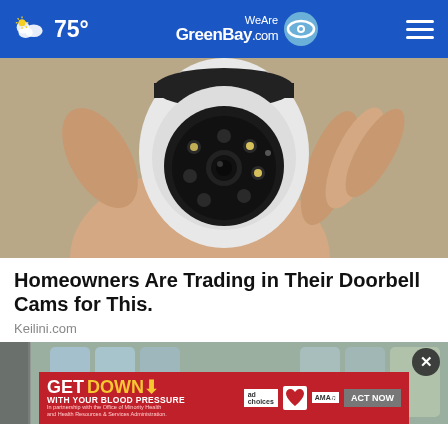75° WeAreGreenBay.com
[Figure (photo): A hand holding a small white security camera with a dome-shaped top and circular lens array with LED lights]
Homeowners Are Trading in Their Doorbell Cams for This.
Keilini.com
[Figure (photo): Partial view of a refrigerator or kitchen scene with advertisement banner overlay: GET DOWN WITH YOUR BLOOD PRESSURE - ACT NOW - In partnership with the Office of Minority Health and Health Resources & Services Administration]